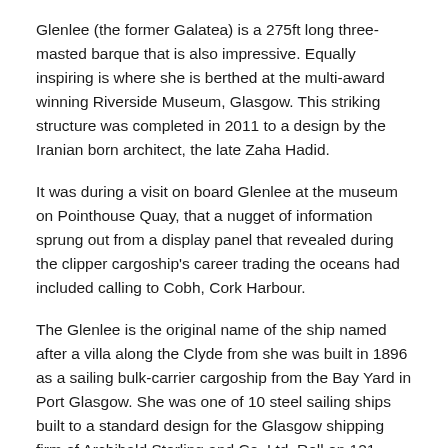Glenlee (the former Galatea) is a 275ft long three-masted barque that is also impressive. Equally inspiring is where she is berthed at the multi-award winning Riverside Museum, Glasgow. This striking structure was completed in 2011 to a design by the Iranian born architect, the late Zaha Hadid.
It was during a visit on board Glenlee at the museum on Pointhouse Quay, that a nugget of information sprung out from a display panel that revealed during the clipper cargoship's career trading the oceans had included calling to Cobh, Cork Harbour.
The Glenlee is the original name of the ship named after a villa along the Clyde from she was built in 1896 as a sailing bulk-carrier cargoship from the Bay Yard in Port Glasgow. She was one of 10 steel sailing ships built to a standard design for the Glasgow shipping firm of Archibald Sterling and Co. Ltd. Roll on 121 years and the tallship is the UK's only floating Clyde-built sailing ship left. The barque is also open to the public as a museum and floating exhibit, the passage below listing broadly...